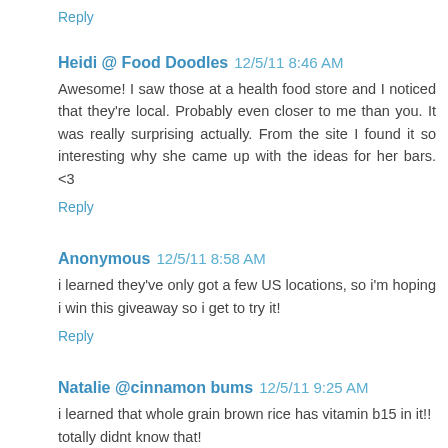Reply
Heidi @ Food Doodles  12/5/11 8:46 AM
Awesome! I saw those at a health food store and I noticed that they're local. Probably even closer to me than you. It was really surprising actually. From the site I found it so interesting why she came up with the ideas for her bars. <3
Reply
Anonymous  12/5/11 8:58 AM
i learned they've only got a few US locations, so i'm hoping i win this giveaway so i get to try it!
Reply
Natalie @cinnamon bums  12/5/11 9:25 AM
i learned that whole grain brown rice has vitamin b15 in it!! totally didnt know that!